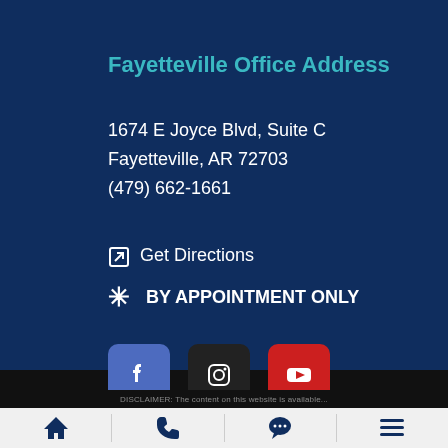Fayetteville Office Address
1674 E Joyce Blvd, Suite C
Fayetteville, AR 72703
(479) 662-1661
Get Directions
BY APPOINTMENT ONLY
[Figure (other): Social media icons: Facebook, Instagram, YouTube]
DISCLAIMER: The content on this website is available...
[Figure (other): Mobile navigation bar with home, phone, chat, and menu icons]